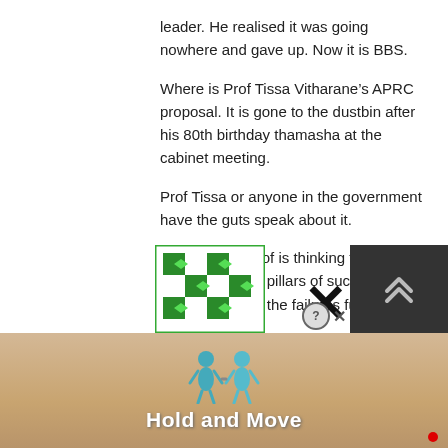leader. He realised it was going nowhere and gave up. Now it is BBS.
Where is Prof Tissa Vitharane’s APRC proposal. It is gone to the dustbin after his 80th birthday thamasha at the cabinet meeting.
Prof Tissa or anyone in the government have the guts speak about it.
Must be that Prof is thinking that ‘failures are the pillars of success’ and help compound the failures further.
Let us see the massaging in the northern provincial election.
[Figure (screenshot): Advertisement banner with green checkered widget icon on left, X close button and dark panel with chevron arrows on right, and a game advertisement 'Hold and Move' with illustrated characters at the bottom.]